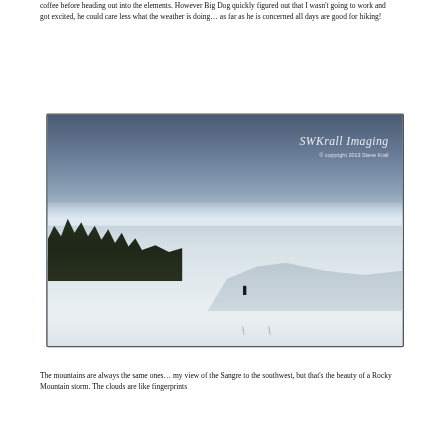coffee before heading out into the elements. However Big Dog quickly figured out that I wasn't going to work and got excited, he could care less what the weather is doing… as far as he is concerned all days are good for hiking!
[Figure (photo): A winter landscape photograph showing snow-covered rolling hills with a dark treeline of evergreens on the left, a stormy dark blue-grey sky with wispy cloud formations in the middle, and an open snowy field in the foreground. A small dark figure (person or dog) is visible in the middle distance. Dry grass and fence posts appear near the bottom. Watermark reads 'SWKrall Imaging' and '© copyright 2013 Steve Krall'.]
The mountains are always the same ones… my view of the Sangre to the southwest, but that's the beauty of a Rocky Mountain storm. The clouds are like fingerprints